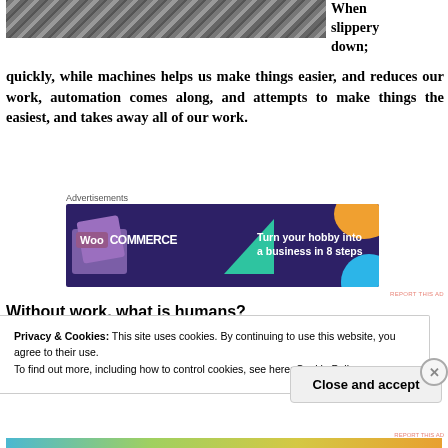[Figure (photo): Aerial black-and-white photograph showing industrial or construction area, top-left of page]
When slippery down;
quickly, while machines helps us make things easier, and reduces our work, automation comes along, and attempts to make things the easiest, and takes away all of our work.
[Figure (other): WooCommerce advertisement banner: dark purple background with green triangle, orange and blue circular shapes. Text: Turn your hobby into a business in 8 steps]
REPORT THIS AD
Without work, what is humans?
Privacy & Cookies: This site uses cookies. By continuing to use this website, you agree to their use.
To find out more, including how to control cookies, see here: Cookie Policy
Close and accept